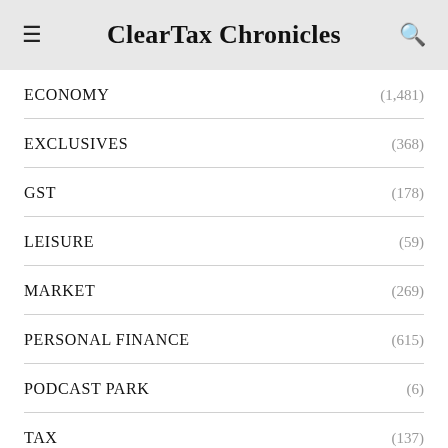ClearTax Chronicles
ECONOMY (1,481)
EXCLUSIVES (368)
GST (178)
LEISURE (59)
MARKET (269)
PERSONAL FINANCE (615)
PODCAST PARK (6)
TAX (137)